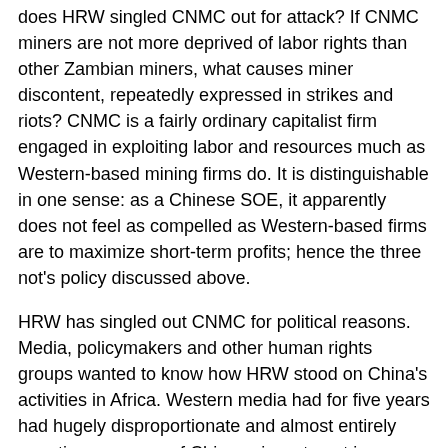does HRW singled CNMC out for attack? If CNMC miners are not more deprived of labor rights than other Zambian miners, what causes miner discontent, repeatedly expressed in strikes and riots? CNMC is a fairly ordinary capitalist firm engaged in exploiting labor and resources much as Western-based mining firms do. It is distinguishable in one sense: as a Chinese SOE, it apparently does not feel as compelled as Western-based firms are to maximize short-term profits; hence the three not's policy discussed above.
HRW has singled out CNMC for political reasons. Media, policymakers and other human rights groups wanted to know how HRW stood on China's activities in Africa. Western media had for five years had hugely disproportionate and almost entirely negative coverage of Chinese investment in Zambian copper mining, largely because of the racist diatribes of the PF's Michael Sata, used to drum up electoral support. HRW is almost 100% financed byWestern sources -- about 75% in North America and 25% in Western Europe. It is an exponent of Western liberalism and an opponent of the authoritarian Chinese government.